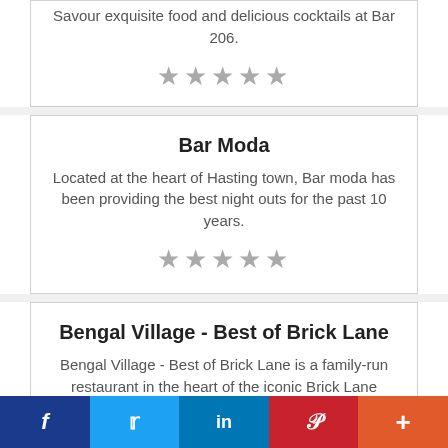Savour exquisite food and delicious cocktails at Bar 206.
★★★★★
Bar Moda
Located at the heart of Hasting town, Bar moda has been providing the best night outs for the past 10 years.
★★★★★
Bengal Village - Best of Brick Lane
Bengal Village - Best of Brick Lane is a family-run restaurant in the heart of the iconic Brick Lane which is also known as the Curry Mile of London.
★★★★★